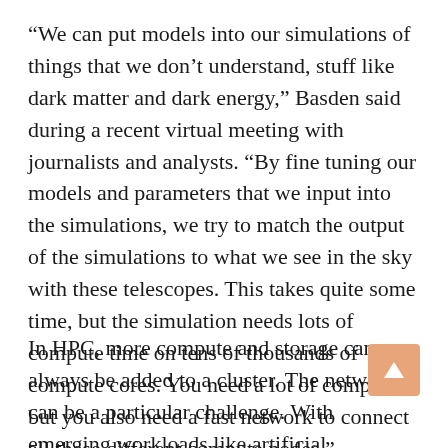“We can put models into our simulations of things that we don’t understand, stuff like dark matter and dark energy,” Basden said during a recent virtual meeting with journalists and analysts. “By fine tuning our models and parameters that we input into the simulations, we try to match the output of the simulations to what we see in the sky with these telescopes. This takes quite some time, but the simulation needs lots of compute time on tens of thousands of compute cores. You need a lot of compute, but you also need a fast network to connect all these different compute nodes.”
In HPC, more compute and storage can always be added to a cluster. The network can be a particular challenge. With emerging workloads like artificial intelligence becoming more prominent, demand for compute resources from disparate parties is always an issue and “…